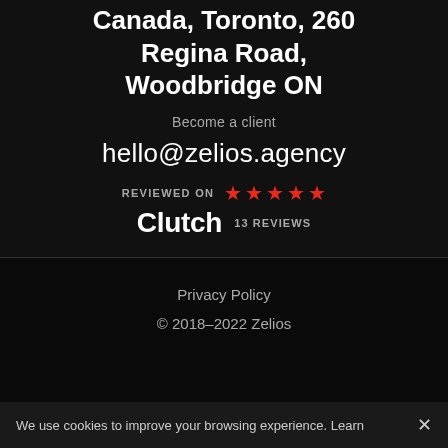Canada, Toronto, 260 Regina Road, Woodbridge ON
Become a client
hello@zelios.agency
[Figure (other): Clutch review badge: REVIEWED ON with 5 red stars, Clutch logo, 13 REVIEWS]
Privacy Policy
© 2018–2022 Zelios
We use cookies to improve your browsing experience. Learn ✕